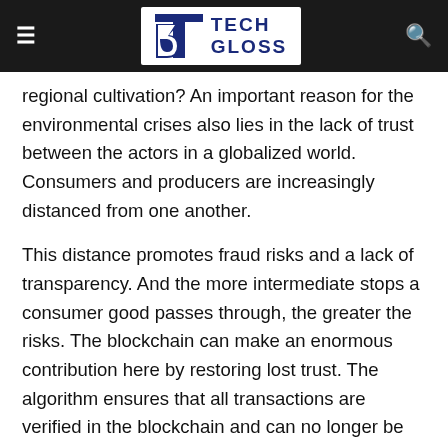TECH GLOSS
regional cultivation? An important reason for the environmental crises also lies in the lack of trust between the actors in a globalized world. Consumers and producers are increasingly distanced from one another.
This distance promotes fraud risks and a lack of transparency. And the more intermediate stops a consumer good passes through, the greater the risks. The blockchain can make an enormous contribution here by restoring lost trust. The algorithm ensures that all transactions are verified in the blockchain and can no longer be changed afterward.
The international forest certification system PEFC (Program for the Endorsement of Forest Certification Schemes), which according to its information certifies 265 million hectares of